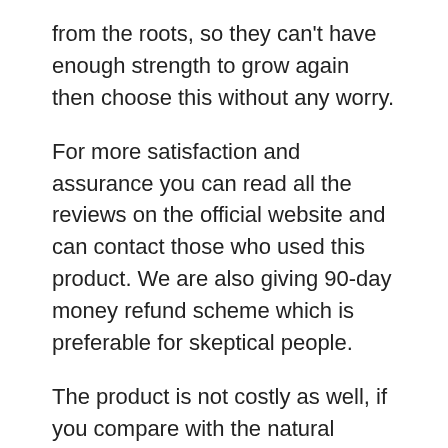from the roots, so they can't have enough strength to grow again then choose this without any worry.
For more satisfaction and assurance you can read all the reviews on the official website and can contact those who used this product. We are also giving 90-day money refund scheme which is preferable for skeptical people.
The product is not costly as well, if you compare with the natural ingredients and the advanced formula that provide you an ease and positive results fast, you will please with it for sure.
So, buy H warts formula today and you can have a discount as well. Choose safely and be safe and